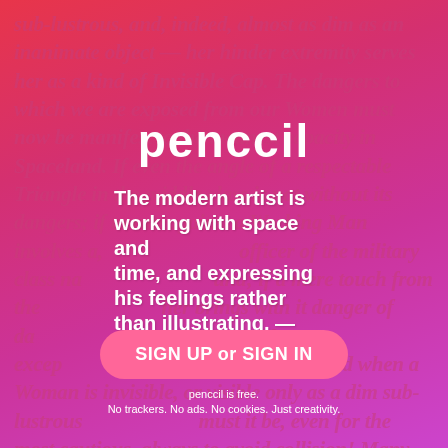sub-lustrous, and, indeed, almost as dim as an inanimate object — her hinder extremity serves her as a kind of Invisible Cap. The dangers to which we are exposed from our Women must now be manifest to the meanest capacity in Spaceland. If even the angle of a respectable Triangle in the middle class is not without its dangers; if to run against a Working Man involves a, officer of the military class never, if a mere touch from the, her brings with it danger of da, against a Woman, except, destruction? And when a Woman is invisible, or visible only as a dim sub-lustrous, must it be, even for the most cautious, always to avoid collision! Many are the enactments made at different times in the different States of Flatland, tries to minimize this peril; and in the Southern and less temperate climates where the force of gravitation is greater
penccil
The modern artist is working with space and time, and expressing his feelings rather than illustrating. — Jackson Pollock
SIGN UP or SIGN IN
penccil is free.
No trackers. No ads. No cookies. Just creativity.